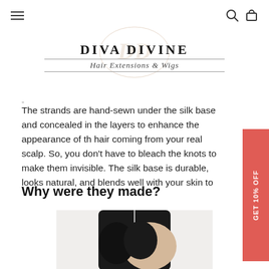navigation bar with hamburger menu, search icon, and cart icon
[Figure (logo): Diva Divine Hair Extensions & Wigs logo with circular watermark background]
The strands are hand-sewn under the silk base and concealed in the layers to enhance the appearance of the hair coming from your real scalp. So, you don't have to bleach the knots to make them invisible. The silk base is durable, looks natural, and blends well with your skin to
Why were they made?
[Figure (photo): Half face mannequin/model with straight dark hair showing wig construction]
[Figure (infographic): GET 10% OFF promotional ribbon on right side]